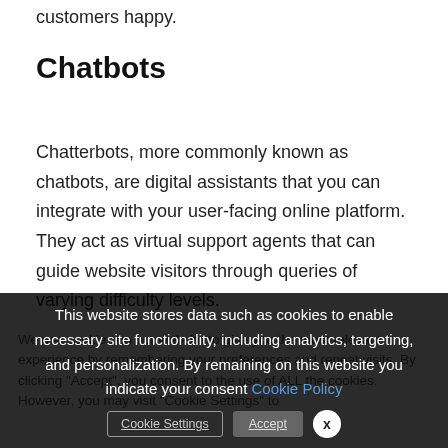customers happy.
Chatbots
Chatterbots, more commonly known as chatbots, are digital assistants that you can integrate with your user-facing online platform. They act as virtual support agents that can guide website visitors through queries of varying difficulty levels.
We use cookies on our website to give you the most relevant experience by remembering your preferences and repeat visits. By clicking "Accept", you consent to the use of ALL the cookies. However, you may visit "Cookie Settings" to
This website stores data such as cookies to enable necessary site functionality, including analytics, targeting, and personalization. By remaining on this website you indicate your consent Cookie Policy